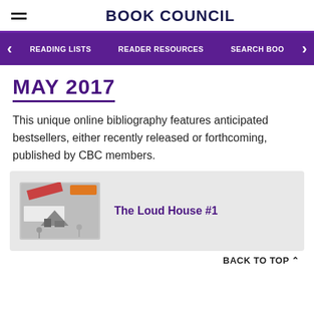BOOK COUNCIL
READING LISTS  READER RESOURCES  SEARCH BOO
MAY 2017
This unique online bibliography features anticipated bestsellers, either recently released or forthcoming, published by CBC members.
[Figure (illustration): Book cover thumbnail for The Loud House #1]
The Loud House #1
BACK TO TOP